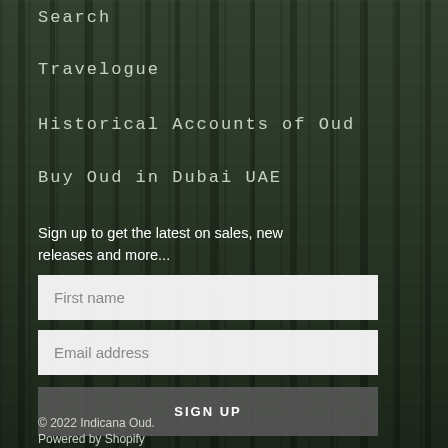Search
Travelogue
Historical Accounts of Oud
Buy Oud in Dubai UAE
Sign up to get the latest on sales, new releases and more...
[Figure (photo): Forest of tall thin trees with misty green atmosphere, a path visible in the background]
© 2022 Indicana Oud.
Powered by Shopify